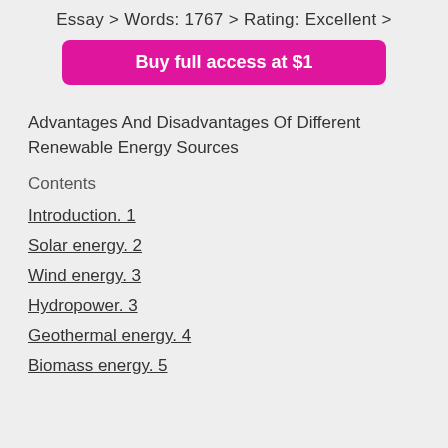Essay > Words: 1767 > Rating: Excellent >
Buy full access at $1
Advantages And Disadvantages Of Different Renewable Energy Sources
Contents
Introduction. 1
Solar energy. 2
Wind energy. 3
Hydropower. 3
Geothermal energy. 4
Biomass energy. 5